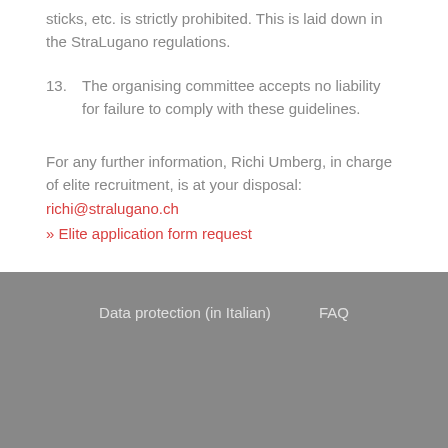sticks, etc. is strictly prohibited. This is laid down in the StraLugano regulations.
13. The organising committee accepts no liability for failure to comply with these guidelines.
For any further information, Richi Umberg, in charge of elite recruitment, is at your disposal: richi@stralugano.ch
» Elite application form request
Data protection (in Italian)    FAQ